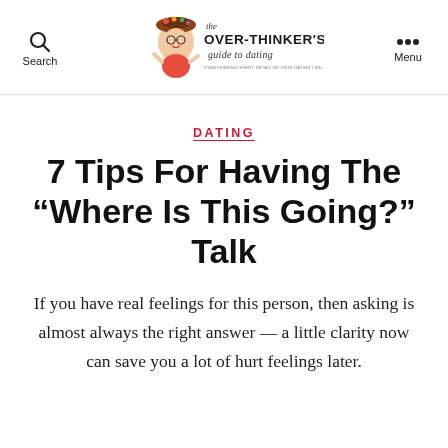Search | The Over-Thinker's Guide to Dating | Menu
DATING
7 Tips For Having The “Where Is This Going?” Talk
If you have real feelings for this person, then asking is almost always the right answer — a little clarity now can save you a lot of hurt feelings later.